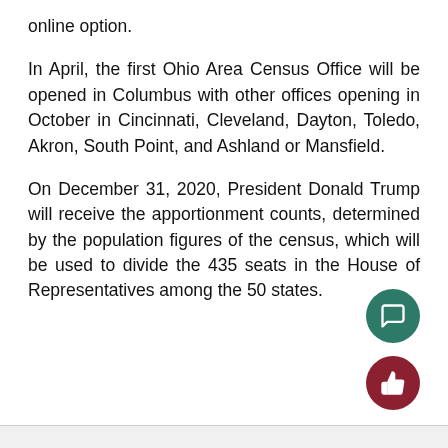online option.
In April, the first Ohio Area Census Office will be opened in Columbus with other offices opening in October in Cincinnati, Cleveland, Dayton, Toledo, Akron, South Point, and Ashland or Mansfield.
On December 31, 2020, President Donald Trump will receive the apportionment counts, determined by the population figures of the census, which will be used to divide the 435 seats in the House of Representatives among the 50 states.